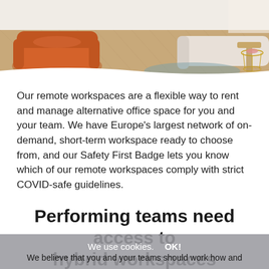[Figure (photo): Interior photo showing an orange armchair and modern living/office space with wooden flooring and a side table]
Our remote workspaces are a flexible way to rent and manage alternative office space for you and your team. We have Europe's largest network of on-demand, short-term workspace ready to choose from, and our Safety First Badge lets you know which of our remote workspaces comply with strict COVID-safe guidelines.
Performing teams need access to hybrid workspaces
We use cookies.  OK!
We believe that you and your teams should work how and